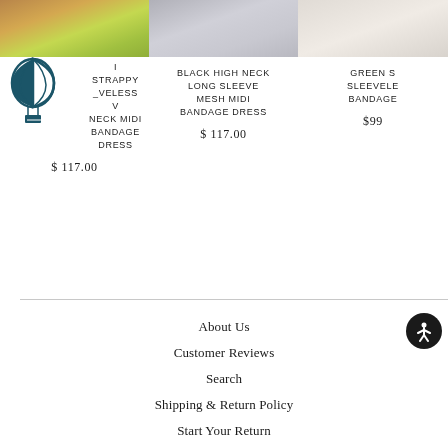[Figure (photo): Product photo of strappy sleeveless V neck midi bandage dress in lime/green color]
[Figure (logo): Hot air balloon logo icon in teal/dark blue]
I STRAPPY _VELESS V NECK MIDI BANDAGE DRESS
$ 117.00
[Figure (photo): Product photo of black high neck long sleeve mesh midi bandage dress]
BLACK HIGH NECK LONG SLEEVE MESH MIDI BANDAGE DRESS
$ 117.00
[Figure (photo): Product photo of green sleeveless bandage dress (partially cropped)]
GREEN S SLEEVELE BANDAGE
$99
About Us
Customer Reviews
Search
Shipping & Return Policy
Start Your Return
Size Guide
Contact Us